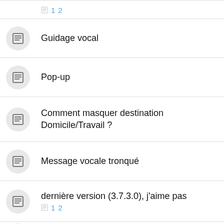1 2 (page links)
Guidage vocal
Pop-up
Comment masquer destination Domicile/Travail ?
Message vocale tronqué
dernière version (3.7.3.0), j'aime pas — 1 2
Waze en mode paysage